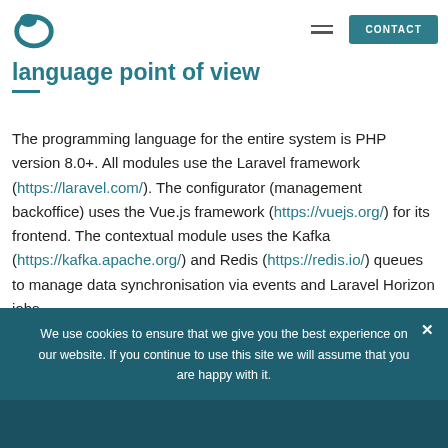Logo | Hamburger menu | CONTACT
language point of view
The programming language for the entire system is PHP version 8.0+. All modules use the Laravel framework (https://laravel.com/). The configurator (management backoffice) uses the Vue.js framework (https://vuejs.org/) for its frontend. The contextual module uses the Kafka (https://kafka.apache.org/) and Redis (https://redis.io/) queues to manage data synchronisation via events and Laravel Horizon jobs
We use cookies to ensure that we give you the best experience on our website. If you continue to use this site we will assume that you are happy with it.